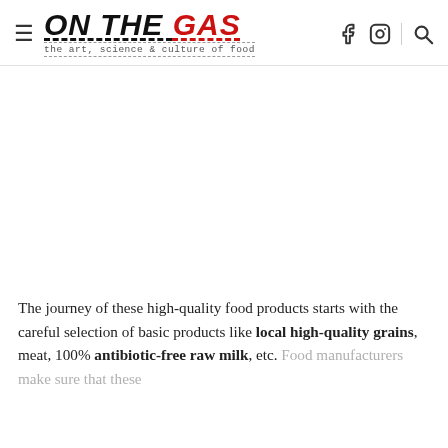ON THE GAS — the art, science & culture of food
[Figure (photo): Blank/white image area below the header, likely a food photo that did not load]
The journey of these high-quality food products starts with the careful selection of basic products like local high-quality grains, meat, 100% antibiotic-free raw milk, etc. Food manufacturers make sure that these